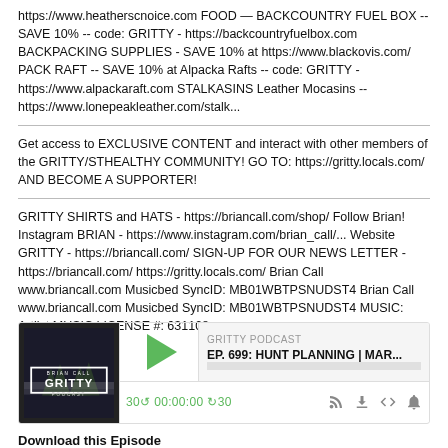https://www.heatherscnoice.com FOOD — BACKCOUNTRY FUEL BOX -- SAVE 10% -- code: GRITTY - https://backcountryfuelbox.com BACKPACKING SUPPLIES - SAVE 10% at https://www.blackovis.com/ PACK RAFT -- SAVE 10% at Alpacka Rafts -- code: GRITTY - https://www.alpackaraft.com STALKASINS Leather Mocasins -- https://www.lonepeakleather.com/stalk...
Get access to EXCLUSIVE CONTENT and interact with other members of the GRITTY/STHEALTHY COMMUNITY! GO TO: https://gritty.locals.com/ AND BECOME A SUPPORTER!
GRITTY SHIRTS and HATS - https://briancall.com/shop/ Follow Brian! Instagram BRIAN - https://www.instagram.com/brian_call/... Website GRITTY - https://briancall.com/ SIGN-UP FOR OUR NEWS LETTER - https://briancall.com/ https://gritty.locals.com/ Brian Call www.briancall.com Musicbed SyncID: MB01WBTPSNUDST4 Brian Call www.briancall.com Musicbed SyncID: MB01WBTPSNUDST4 MUSIC: Artlist MUSIC LICENSE #: 631108
[Figure (screenshot): Podcast player widget for GRITTY PODCAST episode EP. 699: HUNT PLANNING | MAR... with thumbnail, play button, time controls showing 00:00:00, and control icons]
Download this Episode